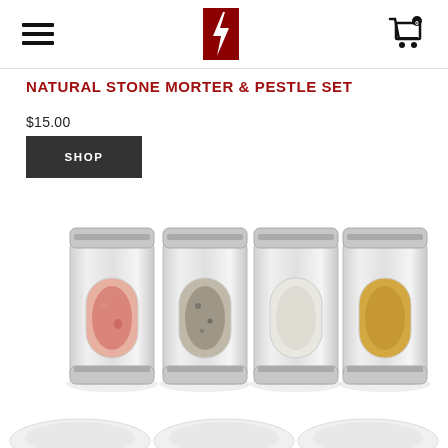Navigation bar with hamburger menu, logo, and cart icon
NATURAL STONE MORTER & PESTLE SET
$15.00
SHOP
[Figure (photo): Four stainless steel spice jars with transparent oval windows showing different spices: pink himalayan salt, black pepper, white salt/sugar, and yellow turmeric/mustard. Below is a partial view of white mortar and pestle sets.]